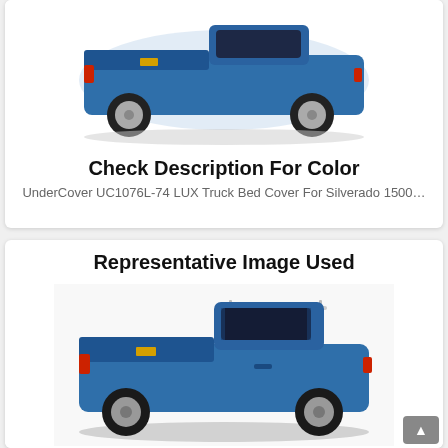[Figure (photo): Blue Chevrolet Silverado 1500 truck with a LUX truck bed cover, viewed from rear three-quarter angle on white background]
Check Description For Color
UnderCover UC1076L-74 LUX Truck Bed Cover For Silverado 1500…
Representative Image Used
[Figure (photo): Blue Chevrolet Silverado 1500 truck with a LUX truck bed cover, viewed from rear three-quarter angle on dark background]